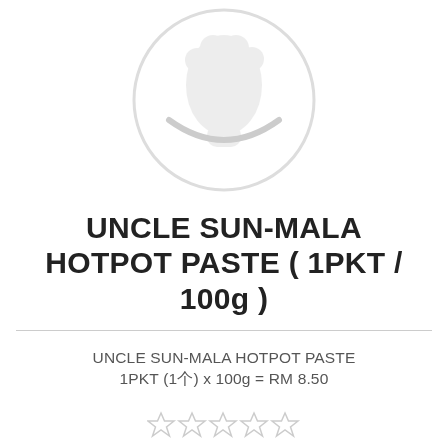[Figure (logo): Circular logo placeholder with a stylized graphic, light gray color on white background]
UNCLE SUN-MALA HOTPOT PASTE ( 1PKT / 100g )
UNCLE SUN-MALA HOTPOT PASTE
1PKT (1个) x 100g = RM 8.50
[Figure (other): Five empty star rating icons in light gray]
Be the first to review this product